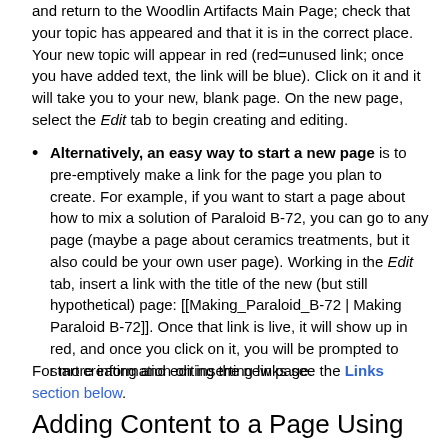and return to the Woodlin Artifacts Main Page; check that your topic has appeared and that it is in the correct place. Your new topic will appear in red (red=unused link; once you have added text, the link will be blue). Click on it and it will take you to your new, blank page. On the new page, select the Edit tab to begin creating and editing.
Alternatively, an easy way to start a new page is to pre-emptively make a link for the page you plan to create. For example, if you want to start a page about how to mix a solution of Paraloid B-72, you can go to any page (maybe a page about ceramics treatments, but it also could be your own user page). Working in the Edit tab, insert a link with the title of the new (but still hypothetical) page: [[Making_Paraloid_B-72 | Making Paraloid B-72]]. Once that link is live, it will show up in red, and once you click on it, you will be prompted to start creating and editing the new page.
For more information on inserting links see the Links section below.
Adding Content to a Page Using